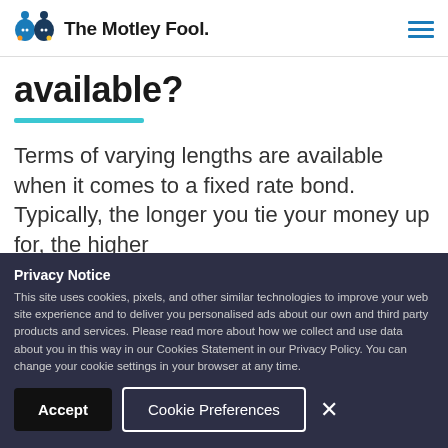The Motley Fool
available?
Terms of varying lengths are available when it comes to a fixed rate bond. Typically, the longer you tie your money up for, the higher
Privacy Notice
This site uses cookies, pixels, and other similar technologies to improve your web site experience and to deliver you personalised ads about our own and third party products and services. Please read more about how we collect and use data about you in this way in our Cookies Statement in our Privacy Policy. You can change your cookie settings in your browser at any time.
Accept   Cookie Preferences   ×